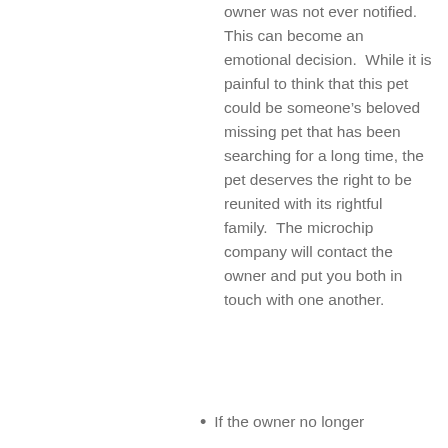owner was not ever notified.  This can become an emotional decision.  While it is painful to think that this pet could be someone’s beloved missing pet that has been searching for a long time, the pet deserves the right to be reunited with its rightful family.  The microchip company will contact the owner and put you both in touch with one another.
If the owner no longer